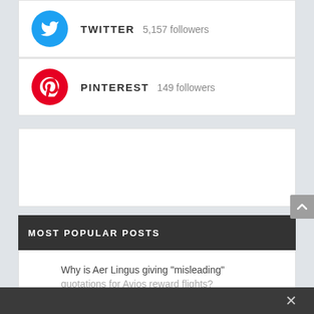TWITTER 5,157 followers
PINTEREST 149 followers
[Figure (other): Empty white advertisement box]
MOST POPULAR POSTS
Why is Aer Lingus giving "misleading" quotations for Avios reward flights?